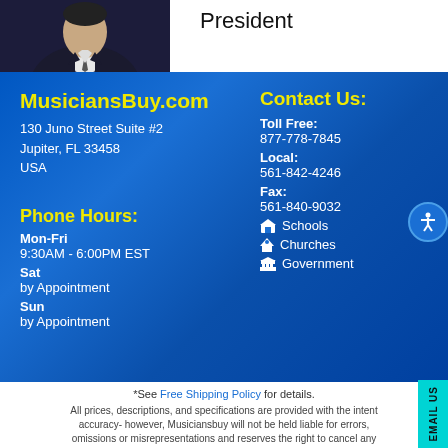[Figure (photo): Photo of a man in a suit, partially cropped, top-left of page]
President
MusiciansBuy.com
130 Juno Street Suite #2
Jupiter, FL 33458
USA
Contact Us:
Toll Free: 877-778-7845
Local: 561-842-4246
Fax: 561-840-9032
🎓 Schools
⛪ Churches
🏛 Government
Phone Hours:
Mon-Fri
9:30AM - 6:00PM EST
Sat
by Appointment
Sun
by Appointment
*See Free Shipping Policy for details.
All prices, descriptions, and specifications are provided with the intent accuracy- however, Musiciansbuy will not be held liable for errors, omissions or misrepresentations and reserves the right to cancel any orders arising from such errors.